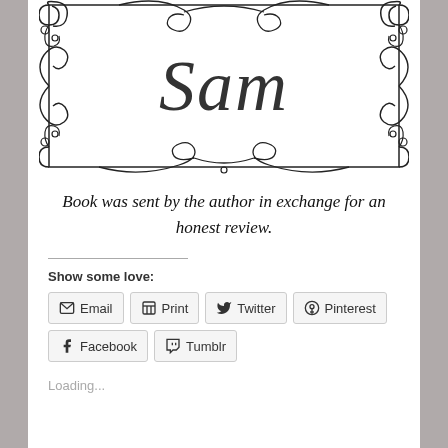[Figure (illustration): Decorative ornamental frame with scrollwork and floral motifs containing the cursive word 'Sam' in the center]
Book was sent by the author in exchange for an honest review.
Show some love:
Email  Print  Twitter  Pinterest  Facebook  Tumblr
Loading...